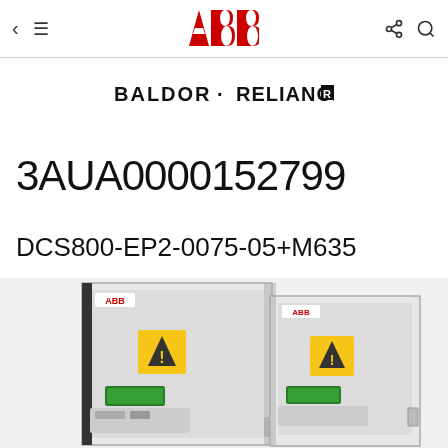ABB navigation bar with back arrow, hamburger menu, ABB logo, share and search icons
[Figure (logo): ABB logo in red]
[Figure (logo): BALDOR · RELIANCE brand logo in black bold serif font]
3AUA0000152799
DCS800-EP2-0075-05+M635
[Figure (photo): Two large industrial DCS800 DC drive cabinets side by side, white enclosures with ABB branding, yellow warning labels, green displays]